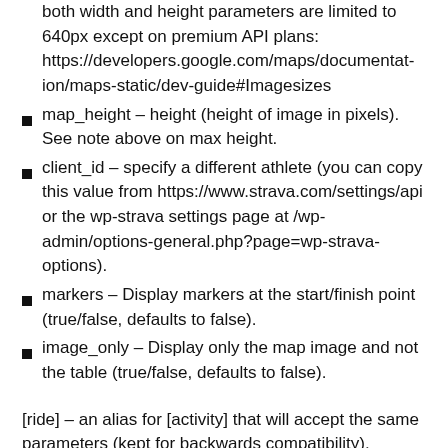both width and height parameters are limited to 640px except on premium API plans: https://developers.google.com/maps/documentation/maps-static/dev-guide#Imagesizes
map_height – height (height of image in pixels). See note above on max height.
client_id – specify a different athlete (you can copy this value from https://www.strava.com/settings/api or the wp-strava settings page at /wp-admin/options-general.php?page=wp-strava-options).
markers – Display markers at the start/finish point (true/false, defaults to false).
image_only – Display only the map image and not the table (true/false, defaults to false).
[ride] – an alias for [activity] that will accept the same parameters (kept for backwards compatibility).
[route id=NUMBER] – add to any page or post